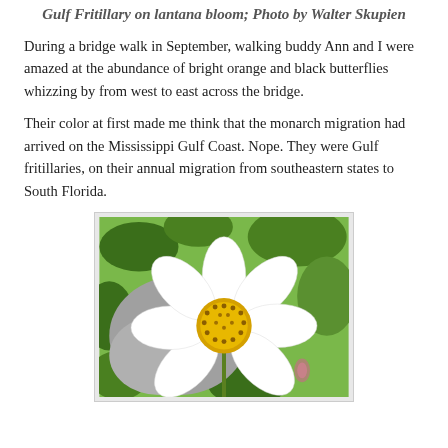Gulf Fritillary on lantana bloom; Photo by Walter Skupien
During a bridge walk in September, walking buddy Ann and I were amazed at the abundance of bright orange and black butterflies whizzing by from west to east across the bridge.
Their color at first made me think that the monarch migration had arrived on the Mississippi Gulf Coast. Nope. They were Gulf fritillaries, on their annual migration from southeastern states to South Florida.
[Figure (photo): A white flower with a yellow center (lantana bloom or similar daisy-like flower) photographed up close with green foliage in the background.]